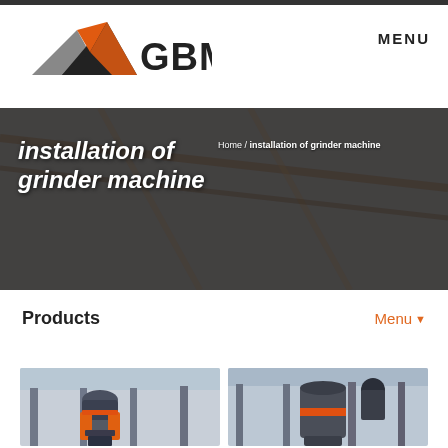[Figure (logo): GBM logo with orange and grey mountain/triangle shapes and bold GBM text]
MENU
[Figure (photo): Banner image showing industrial machinery/scaffolding background with 'installation of grinder machine' title and breadcrumb navigation]
installation of grinder machine
Home / installation of grinder machine
Products
Menu ▼
[Figure (photo): Industrial grinder/crusher machine in factory setting]
[Figure (photo): Industrial vertical grinding mill in factory setting]